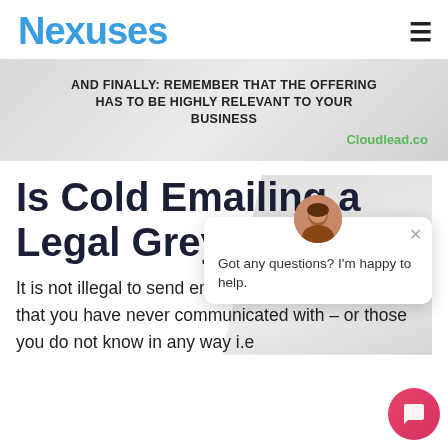Nexuses
AND FINALLY: REMEMBER THAT THE OFFERING HAS TO BE HIGHLY RELEVANT TO YOUR BUSINESS
Cloudlead.co
Is Cold Emailing a Legal Gre...
Got any questions? I'm happy to help.
It is not illegal to send emails to business contacts that you have never communicated with – or those you do not know in any way i.e